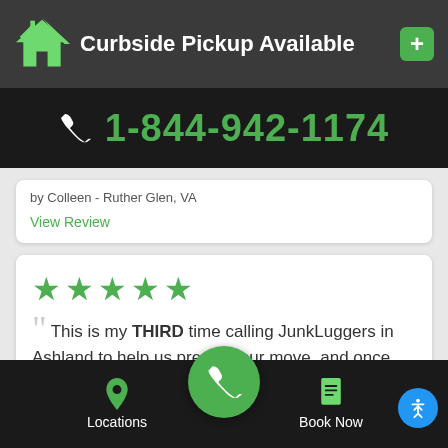Curbside Pickup Available
1-844-942-1174
by Colleen - Ruther Glen, VA
View Review
[Figure (illustration): Five green star rating icons]
This is my THIRD time calling JunkLuggers in Ashland to help us prep for our move, and once again, they were amazing!...
Locations | Book Now